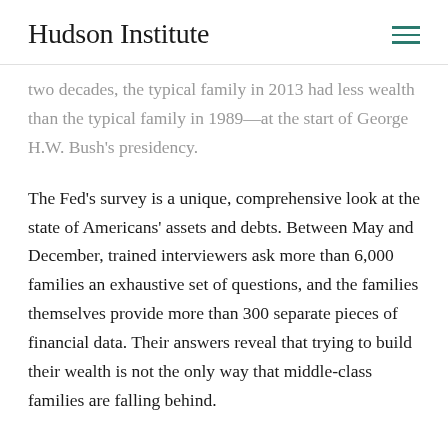Hudson Institute
two decades, the typical family in 2013 had less wealth than the typical family in 1989—at the start of George H.W. Bush's presidency.

The Fed's survey is a unique, comprehensive look at the state of Americans' assets and debts. Between May and December, trained interviewers ask more than 6,000 families an exhaustive set of questions, and the families themselves provide more than 300 separate pieces of financial data. Their answers reveal that trying to build their wealth is not the only way that middle-class families are falling behind.